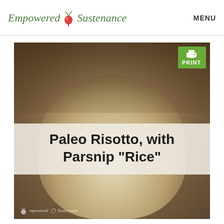Empowered Sustenance  MENU
[Figure (photo): Food photo of a bowl of Paleo Risotto made with Parsnip 'Rice', garnished with herbs, placed on a wooden surface with a red and white cloth in the background. A 'PRINT' button with printer icon appears in the upper right corner of the image. A semi-transparent title overlay reads: Paleo Risotto, with Parsnip "Rice". A watermark 'Empowered Sustenance' appears at the bottom left.]
Paleo Risotto, with Parsnip "Rice"